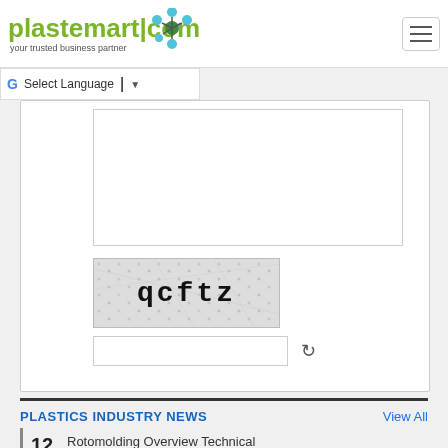[Figure (logo): plastemart.com logo with green text and molecular/network graphic, tagline: your trusted business partner]
[Figure (screenshot): Hamburger menu button (three horizontal lines) in top right corner]
[Figure (screenshot): Google Translate language selector bar showing G logo, Select Language text and dropdown arrow]
[Figure (screenshot): Web form with textarea, CAPTCHA image showing text 'qcftz' with noise pattern, and CAPTCHA input field with refresh icon]
PLASTICS INDUSTRY NEWS
View All
12  Rotomolding Overview Technical